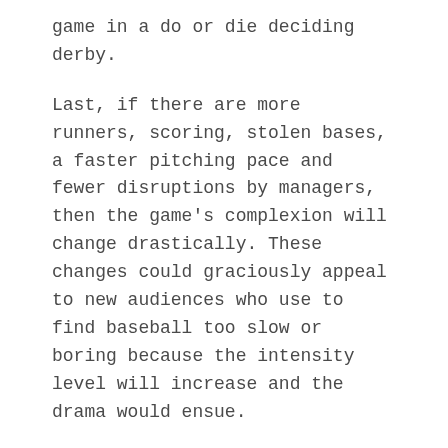game in a do or die deciding derby.
Last, if there are more runners, scoring, stolen bases, a faster pitching pace and fewer disruptions by managers, then the game's complexion will change drastically. These changes could graciously appeal to new audiences who use to find baseball too slow or boring because the intensity level will increase and the drama would ensue.
As of now, it is 12:39 and I started writing this article in the bottom of the ninth inning. This World Series game was over five hours long ending just now as the Astros just won in the bottom of the tenth. In just a 35 minute span between that time and now, I cranked out an 800-word article that would hypothetically change the substance of the